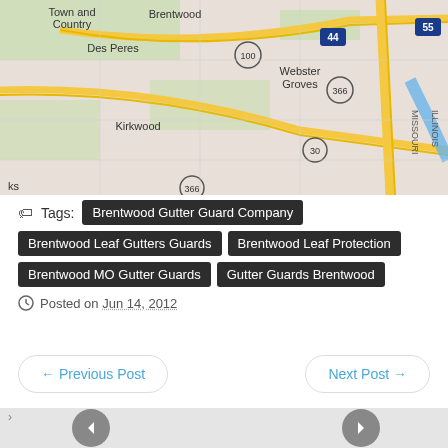[Figure (map): Street map showing Brentwood, Webster Groves, Kirkwood, Des Peres, Town and Country areas near St. Louis, Missouri with highways 44, 55, 100, 366, 30 visible]
Tags: Brentwood Gutter Guard Company
Brentwood Leaf Gutters Guards   Brentwood Leaf Protection
Brentwood MO Gutter Guards   Gutter Guards Brentwood
Posted on Jun 14, 2012
← Previous Post   Next Post →
[Figure (screenshot): Gray panel with left and right navigation arrow buttons (carousel/slider controls)]